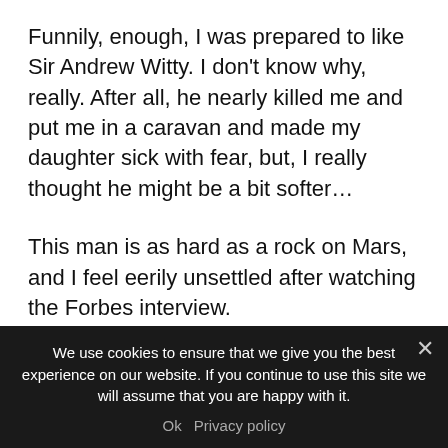Funnily, enough, I was prepared to like Sir Andrew Witty. I don't know why, really. After all, he nearly killed me and put me in a caravan and made my daughter sick with fear, but, I really thought he might be a bit softer…
This man is as hard as a rock on Mars, and I feel eerily unsettled after watching the Forbes interview.
I expect your wife, Caroline, and your two children are very proud of you running the London
We use cookies to ensure that we give you the best experience on our website. If you continue to use this site we will assume that you are happy with it.
Ok   Privacy policy